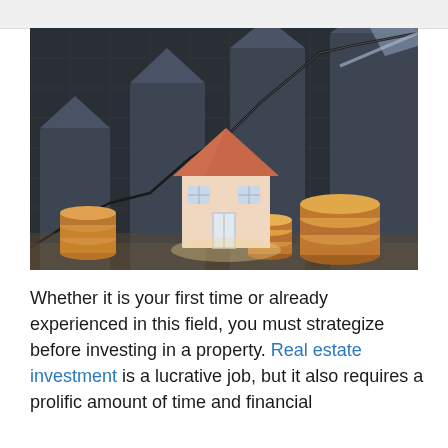[Figure (illustration): 3D rendered image of a model house with an orange/terracotta roof centered among stacks of copper coins and dark bar-chart style rising shapes in the background, with zigzag line-chart overlays, on a dark grid background. Represents real estate investment growth.]
Whether it is your first time or already experienced in this field, you must strategize before investing in a property. Real estate investment is a lucrative job, but it also requires a prolific amount of time and financial